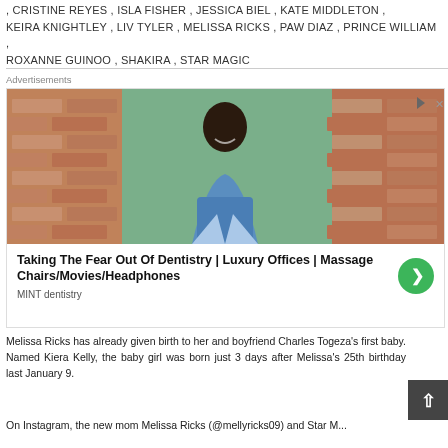, CRISTINE REYES , ISLA FISHER , JESSICA BIEL , KATE MIDDLETON , KEIRA KNIGHTLEY , LIV TYLER , MELISSA RICKS , PAW DIAZ , PRINCE WILLIAM , ROXANNE GUINOO , SHAKIRA , STAR MAGIC
[Figure (photo): Advertisement showing a young woman with long dark hair sitting outdoors against a green door and brick wall, wearing a grey t-shirt and blue jeans, smiling. Below the image: 'Taking The Fear Out Of Dentistry | Luxury Offices | Massage Chairs/Movies/Headphones' by MINT dentistry with a green arrow CTA button.]
Melissa Ricks has already given birth to her and boyfriend Charles Togeza's first baby. Named Kiera Kelly, the baby girl was born just 3 days after Melissa's 25th birthday last January 9.
On Instagram, the new mom Melissa Ricks (@mellyricks09) and Star M...